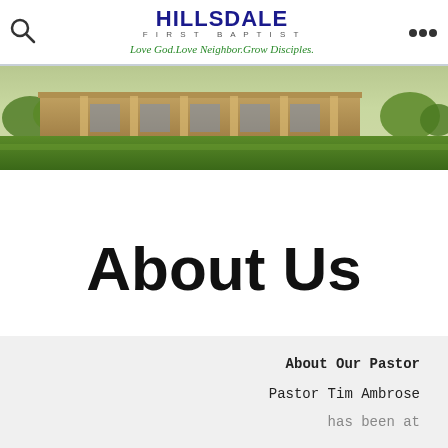HILLSDALE FIRST BAPTIST — Love God. Love Neighbor. Grow Disciples.
[Figure (photo): Exterior photo of Hillsdale First Baptist Church building with green lawn in foreground and trees in background]
About Us
About Our Pastor
Pastor Tim Ambrose has been at